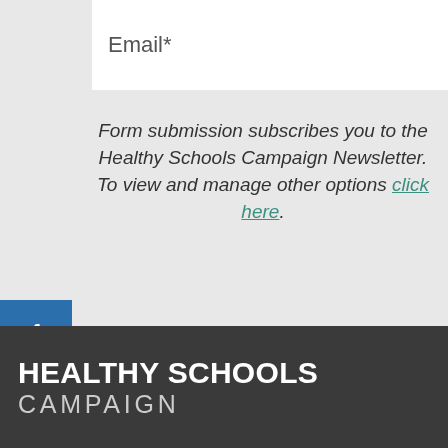Email*
Form submission subscribes you to the Healthy Schools Campaign Newsletter. To view and manage other options click here.
SUBSCRIBE
[Figure (infographic): Social media sidebar with Facebook (f), Twitter (bird/t), and LinkedIn (in) icons in blue buttons]
HEALTHY SCHOOLS CAMPAIGN